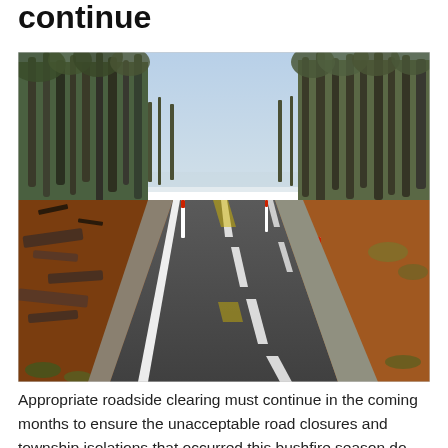continue
[Figure (photo): A two-lane rural road stretching into the distance, flanked on both sides by tall eucalyptus trees. The roadside areas show evidence of bushfire damage — bare red-orange soil, charred timber debris on the left, and burnt ground cover. White delineator posts line the road edge. The sky is light blue and hazy.]
Appropriate roadside clearing must continue in the coming months to ensure the unacceptable road closures and township isolations that occurred this bushfire season do not happen again.